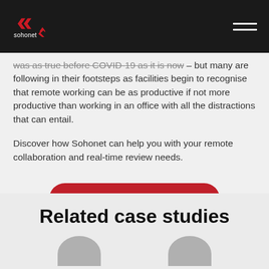sohonet
was as true before COVID-19 as it is now – but many are following in their footsteps as facilities begin to recognise that remote working can be as productive if not more productive than working in an office with all the distractions that can entail.
Discover how Sohonet can help you with your remote collaboration and real-time review needs.
Book a Call with the Team
Related case studies